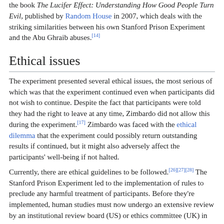the book The Lucifer Effect: Understanding How Good People Turn Evil, published by Random House in 2007, which deals with the striking similarities between his own Stanford Prison Experiment and the Abu Ghraib abuses.[14]
Ethical issues
The experiment presented several ethical issues, the most serious of which was that the experiment continued even when participants did not wish to continue. Despite the fact that participants were told they had the right to leave at any time, Zimbardo did not allow this during the experiment.[17] Zimbardo was faced with the ethical dilemma that the experiment could possibly return outstanding results if continued, but it might also adversely affect the participants' well-being if not halted.
Currently, there are ethical guidelines to be followed.[26][27][28] The Stanford Prison Experiment led to the implementation of rules to preclude any harmful treatment of participants. Before they're implemented, human studies must now undergo an extensive review by an institutional review board (US) or ethics committee (UK) in accordance with the ethical guidelines by the American